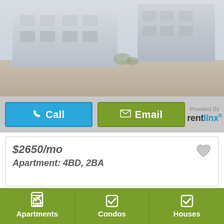[Figure (photo): Exterior photo of an apartment building with a driveway/road in the foreground, showing a light grey residential building on left and another building on right, muted colors.]
Call
Email
Provided By rentlinx
$2650/mo
Apartment: 4BD, 2BA
Apartments
Condos
Houses